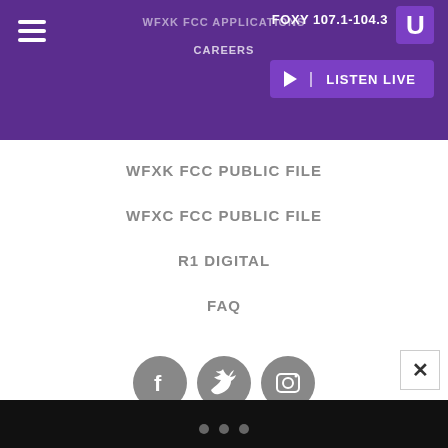FOXY 107.1-104.3 | WFXK FCC APPLICATIONS | CAREERS | LISTEN LIVE
WFXK FCC PUBLIC FILE
WFXC FCC PUBLIC FILE
R1 DIGITAL
FAQ
[Figure (illustration): Three circular social media icons: Facebook (f), Twitter (bird), Instagram (camera)]
An Urban One Brand
Copyright © 2022 Interactive One, LLC. All Rights Reserved. Powered by WordPress VIP